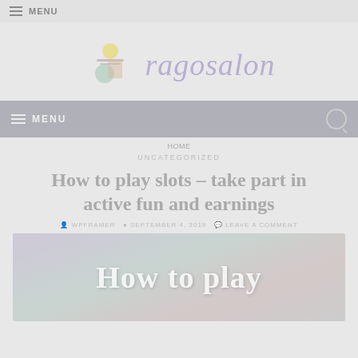≡ MENU
[Figure (logo): ragosalon website logo with decorative graphic and cursive purple text reading 'ragosalon']
≡ MENU
UNCATEGORIZED
How to play slots – take part in active fun and earnings
WPFRAMER · SEPTEMBER 4, 2019 · LEAVE A COMMENT
[Figure (photo): Featured image with text 'How to play' on a muted purple/blue background]